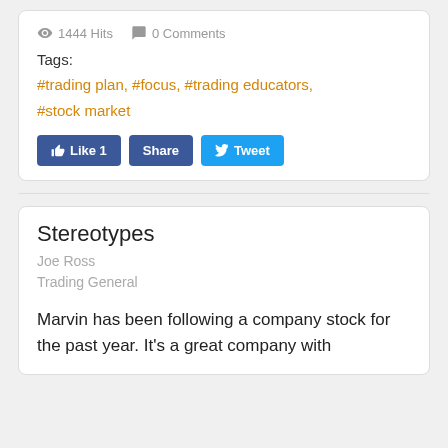1444 Hits   0 Comments
Tags:
#trading plan, #focus, #trading educators, #stock market
[Figure (other): Social sharing buttons: Like 1, Share, Tweet]
Stereotypes
Joe Ross
Trading General
Marvin has been following a company stock for the past year. It's a great company with